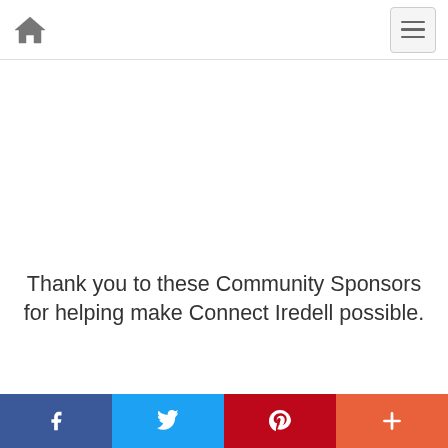Navigation bar with home icon and menu button
Thank you to these Community Sponsors for helping make Connect Iredell possible.
[Figure (other): Social share bar with Facebook, Twitter, Pinterest, and more (+) buttons]